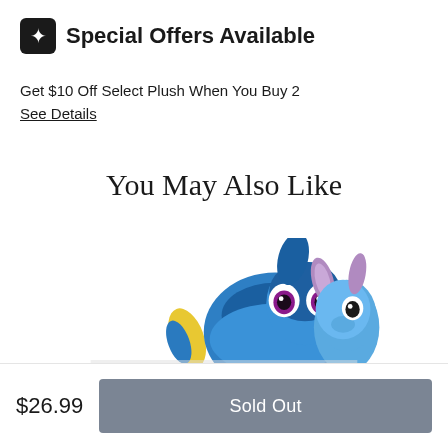Special Offers Available
Get $10 Off Select Plush When You Buy 2
See Details
You May Also Like
[Figure (photo): Two Disney plush toys peeking up from the bottom: Dory (blue fish from Finding Nemo) on the left, and Stitch (blue alien) on the right]
$26.99
Sold Out